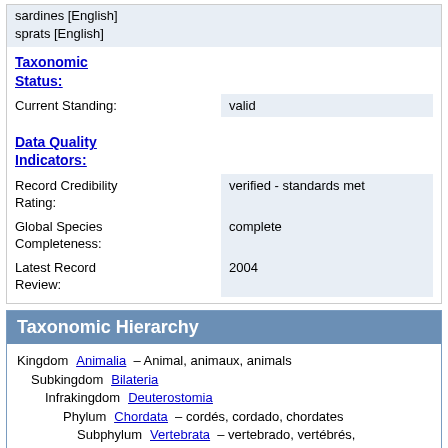sardines [English]
sprats [English]
Taxonomic Status:
| Field | Value |
| --- | --- |
| Current Standing: | valid |
Data Quality Indicators:
| Field | Value |
| --- | --- |
| Record Credibility Rating: | verified - standards met |
| Global Species Completeness: | complete |
| Latest Record Review: | 2004 |
Taxonomic Hierarchy
| Rank | Taxon |
| --- | --- |
| Kingdom | Animalia – Animal, animaux, animals |
| Subkingdom | Bilateria |
| Infrakingdom | Deuterostomia |
| Phylum | Chordata – cordés, cordado, chordates |
| Subphylum | Vertebrata – vertebrado, vertébrés, vertebrates |
| Infraphylum | Gnathostomata |
| Superclass | Actinopterygii – ray-finned fishes, spiny rayed fishes, poisson épineux, poissons à nageoires rayonnées |
| Class | Teleostei |
| Superorder | Clupeomorpha |
| Order | Clupeiformes – anchois, harengs |